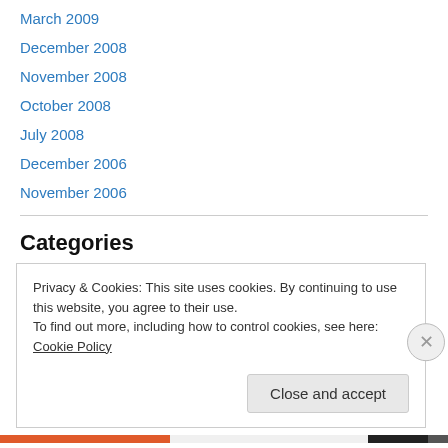March 2009
December 2008
November 2008
October 2008
July 2008
December 2006
November 2006
Categories
Uncategorized
Privacy & Cookies: This site uses cookies. By continuing to use this website, you agree to their use.
To find out more, including how to control cookies, see here: Cookie Policy
Close and accept